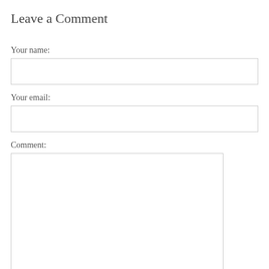Leave a Comment
Your name:
Your email:
Comment:
Comments must be approved